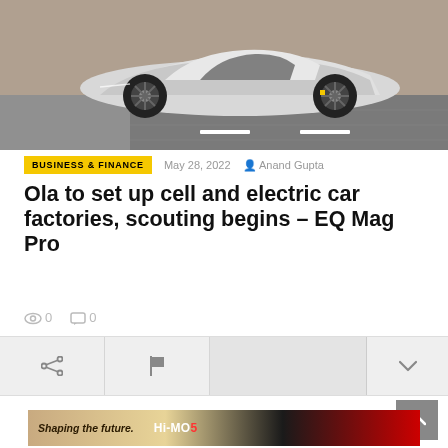[Figure (photo): A silver futuristic electric concept car photographed at an angle from behind-right, parked on a textured road surface.]
BUSINESS & FINANCE   May 28, 2022   Anand Gupta
Ola to set up cell and electric car factories, scouting begins – EQ Mag Pro
👁 0   💬 0
[Figure (screenshot): Action/share bar with share icon, flag icon, and a down-arrow button on the right.]
[Figure (photo): Bottom advertisement strip showing 'Shaping the future.' and 'Hi-MO 5' branding on a desert background.]